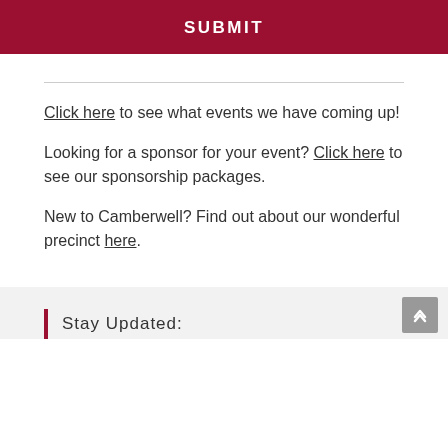SUBMIT
Click here to see what events we have coming up!
Looking for a sponsor for your event? Click here to see our sponsorship packages.
New to Camberwell? Find out about our wonderful precinct here.
Stay Updated: